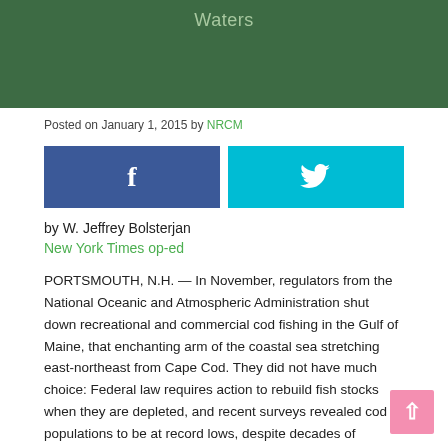Waters
Posted on January 1, 2015 by NRCM
[Figure (other): Social sharing buttons: Facebook (blue) and Twitter (cyan)]
by W. Jeffrey Bolsterjan
New York Times op-ed
PORTSMOUTH, N.H. — In November, regulators from the National Oceanic and Atmospheric Administration shut down recreational and commercial cod fishing in the Gulf of Maine, that enchanting arm of the coastal sea stretching east-northeast from Cape Cod. They did not have much choice: Federal law requires action to rebuild fish stocks when they are depleted, and recent surveys revealed cod populations to be at record lows, despite decades of regulations intended to